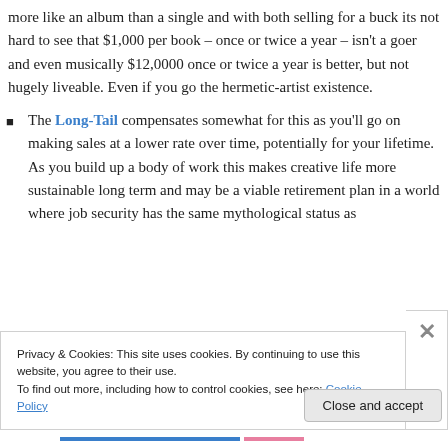more like an album than a single and with both selling for a buck its not hard to see that $1,000 per book – once or twice a year – isn't a goer and even musically $12,0000 once or twice a year is better, but not hugely liveable. Even if you go the hermetic-artist existence.
The Long-Tail compensates somewhat for this as you'll go on making sales at a lower rate over time, potentially for your lifetime. As you build up a body of work this makes creative life more sustainable long term and may be a viable retirement plan in a world where job security has the same mythological status as
Privacy & Cookies: This site uses cookies. By continuing to use this website, you agree to their use.
To find out more, including how to control cookies, see here: Cookie Policy